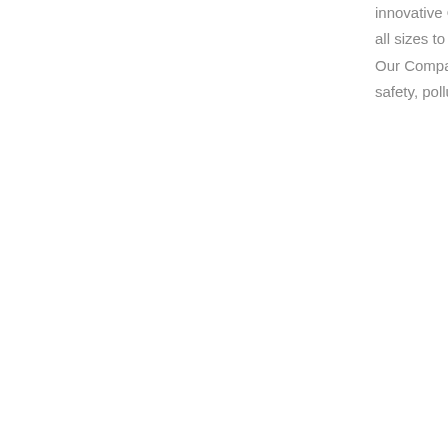innovative Company devoted to helping gold miners, prospectors, jewelers and refiners of all sizes to refine gold, silver and other precious metals safely, efficiently, and with ease Our Company is establishing higher standards in precious metal refining industry for safety, pollution control and efficiency...
[Figure (photo): Industrial processing plant machinery inside a warehouse — large cylindrical dust collector/filter unit with multiple filter bags, metallic white structure, industrial setting]
Gold Ore Iron Ore Processing Plant Design Best - Know More
Gold Ore Iron Ore Processing Plant Design Best Our Products Get In Touch email protected , shop more whats more you...